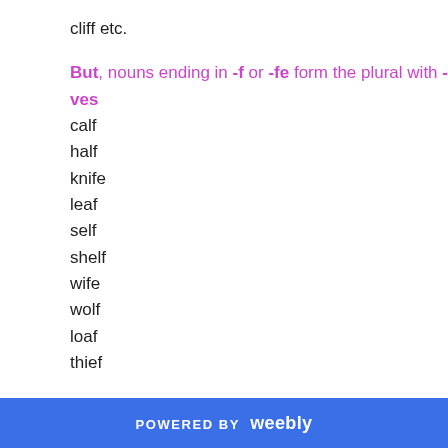cliff etc.
But, nouns ending in -f or -fe form the plural with -ves
calf
half
knife
leaf
self
shelf
wife
wolf
loaf
thief
Nouns ending in -o form the plural with -s
dynamo
kilo
photo
radio
POWERED BY weebly